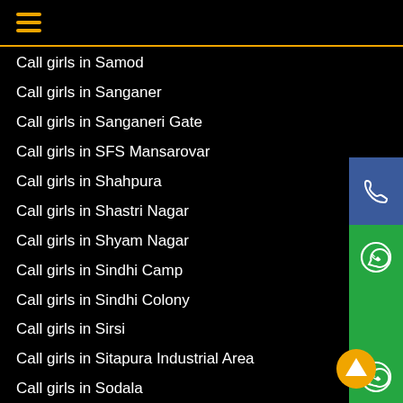≡ (hamburger menu)
Call girls in Samod
Call girls in Sanganer
Call girls in Sanganeri Gate
Call girls in SFS Mansarovar
Call girls in Shahpura
Call girls in Shastri Nagar
Call girls in Shyam Nagar
Call girls in Sindhi Camp
Call girls in Sindhi Colony
Call girls in Sirsi
Call girls in Sitapura Industrial Area
Call girls in Sodala
Call girls in Station Road
Call girls in Subhash Chowk
Call girls in Sudarshanpura Industrial Area
Call girls in Thikariya
Call girls in Tilak Nagar